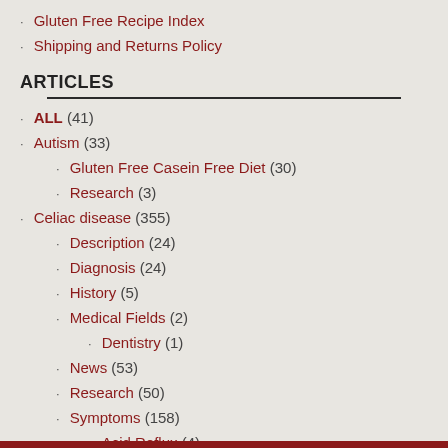Gluten Free Recipe Index
Shipping and Returns Policy
ARTICLES
ALL (41)
Autism (33)
Gluten Free Casein Free Diet (30)
Research (3)
Celiac disease (355)
Description (24)
Diagnosis (24)
History (5)
Medical Fields (2)
Dentistry (1)
News (53)
Research (50)
Symptoms (158)
Acid Reflux (4)
Anxiety (7)